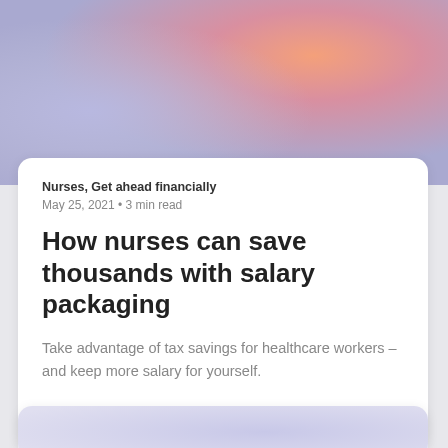[Figure (illustration): Gradient background image with lavender, pink, and orange hues filling the top portion of the page]
Nurses, Get ahead financially
May 25, 2021 • 3 min read
How nurses can save thousands with salary packaging
Take advantage of tax savings for healthcare workers – and keep more salary for yourself.
Cathy Wever
[Figure (illustration): Partial card with lavender gradient background visible at the bottom of the page]